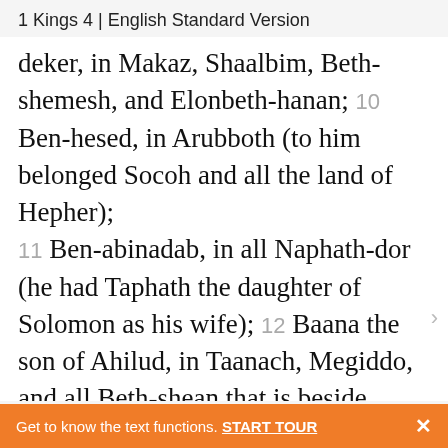1 Kings 4 | English Standard Version
deker, in Makaz, Shaalbim, Beth-shemesh, and Elonbeth-hanan; 10 Ben-hesed, in Arubboth (to him belonged Socoh and all the land of Hepher); 11 Ben-abinadab, in all Naphath-dor (he had Taphath the daughter of Solomon as his wife); 12 Baana the son of Ahilud, in Taanach, Megiddo, and all Beth-shean that is beside Zarethan below Jezreel, and from Beth-shean to Abel-meholah
Get to know the text functions. START TOUR